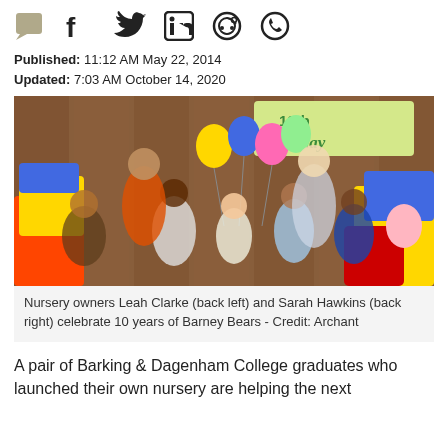[Figure (other): Social media share icons: comment/chat, Facebook, Twitter, LinkedIn, Reddit, WhatsApp]
Published: 11:12 AM May 22, 2014
Updated: 7:03 AM October 14, 2020
[Figure (photo): Group photo of nursery owners Leah Clarke (back left) and Sarah Hawkins (back right) with children celebrating 10th Birthday of Barney Bears nursery, with colorful balloons and soft play equipment in background.]
Nursery owners Leah Clarke (back left) and Sarah Hawkins (back right) celebrate 10 years of Barney Bears - Credit: Archant
A pair of Barking & Dagenham College graduates who launched their own nursery are helping the next